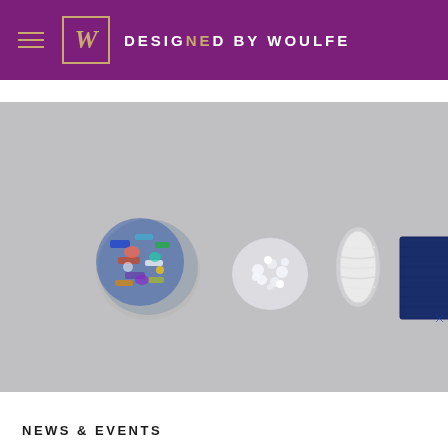DESIGNED BY WOULFE
[Figure (photo): Flat lay of needlepoint/embroidery materials on a grey background: a colorful pile of mixed thread and embellishments on the left, a cluster of white crystal beads in the center-left, a white yarn skein in the center-right, and a navy blue fabric swatch on the right.]
NEWS & EVENTS